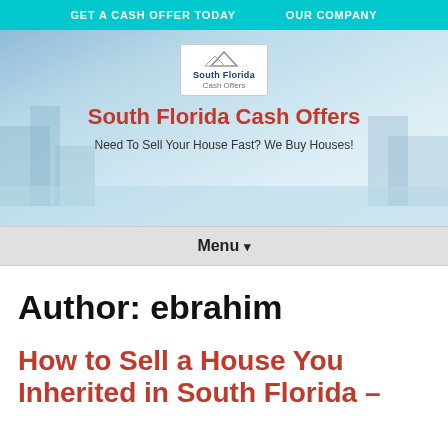GET A CASH OFFER TODAY   OUR COMPANY
[Figure (logo): South Florida Cash Offers logo with mountain graphic, white box with blue and gray text]
South Florida Cash Offers
Need To Sell Your House Fast? We Buy Houses!
Menu ▾
Author: ebrahim
How to Sell a House You Inherited in South Florida –